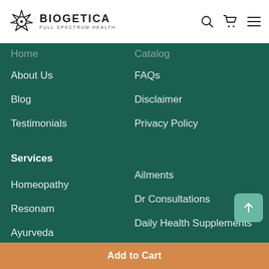BIOGETICA FULL SPECTRUM HEALTH
Home
Catalog
About Us
FAQs
Blog
Disclaimer
Testimonials
Privacy Policy
Services
Homeopathy
Ailments
Resonam
Dr Consultations
Ayurveda
Daily Health Supplements
Green Food
Terms Conditions
Add to Cart